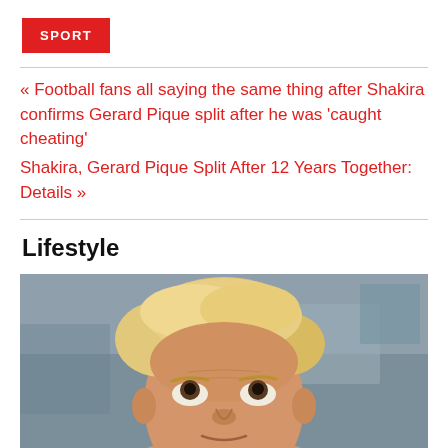SPORT
« Football fans all saying the same thing after Shakira confirms Gerard Pique split after he was 'caught cheating'
Shakira, Gerard Pique Split After 12 Years Together: Details »
Lifestyle
[Figure (photo): Close-up photo of a blond man with disheveled hair looking upward, photographed outdoors with a blurred background]